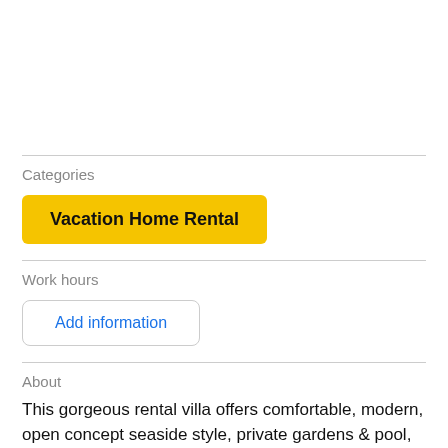Categories
Vacation Home Rental
Work hours
Add information
About
This gorgeous rental villa offers comfortable, modern, open concept seaside style, private gardens & pool, only 200m from world famous Grace Bay Beach.